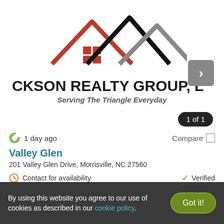[Figure (logo): Jackson Realty Group LLC logo with three roof/house outlines in red, black, and gray, with a red window grid. Text below reads 'CKSON REALTY GROUP, L' (partially clipped) and 'Serving The Triangle Everyday'.]
1 of 1
1 day ago
Compare
Valley Glen
201 Valley Glen Drive, Morrisville, NC 27560
Contact for availability
Verified
4 BEDS
By using this website you agree to our use of cookies as described in our cookie policy.